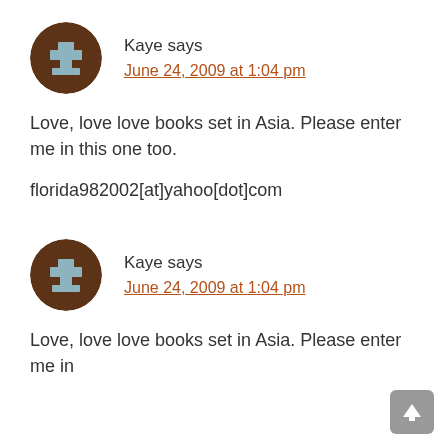[Figure (illustration): Pixel-art style avatar icon: brown circle with a grey/blue stylized person/stamp figure in the center]
Kaye says
June 24, 2009 at 1:04 pm
Love, love love books set in Asia. Please enter me in this one too.
florida982002[at]yahoo[dot]com
[Figure (illustration): Pixel-art style avatar icon: brown circle with a grey/blue stylized person/stamp figure in the center]
Kaye says
June 24, 2009 at 1:04 pm
Love, love love books set in Asia. Please enter me in